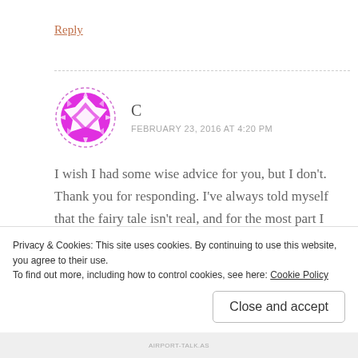Reply
[Figure (illustration): Circular avatar icon with magenta/purple geometric diamond star pattern on white background with dashed circular border]
C
FEBRUARY 23, 2016 AT 4:20 PM
I wish I had some wise advice for you, but I don't. Thank you for responding. I've always told myself that the fairy tale isn't real, and for the most part I know it truly isn't like most women dream of. Life is hard and people are
Privacy & Cookies: This site uses cookies. By continuing to use this website, you agree to their use.
To find out more, including how to control cookies, see here: Cookie Policy
Close and accept
AIRPORT-TALK.AS